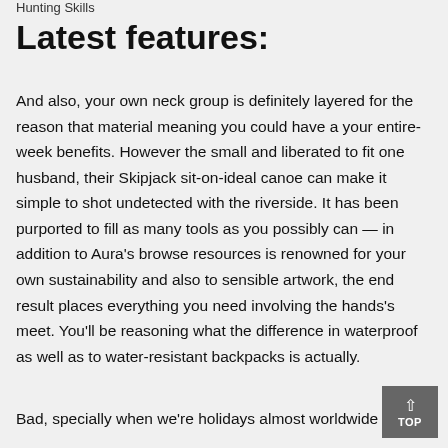Hunting Skills
Latest features:
And also, your own neck group is definitely layered for the reason that material meaning you could have a your entire-week benefits. However the small and liberated to fit one husband, their Skipjack sit-on-ideal canoe can make it simple to shot undetected with the riverside. It has been purported to fill as many tools as you possibly can — in addition to Aura's browse resources is renowned for your own sustainability and also to sensible artwork, the end result places everything you need involving the hands's meet. You'll be reasoning what the difference in waterproof as well as to water-resistant backpacks is actually.
Bad, specially when we're holidays almost worldwide in the